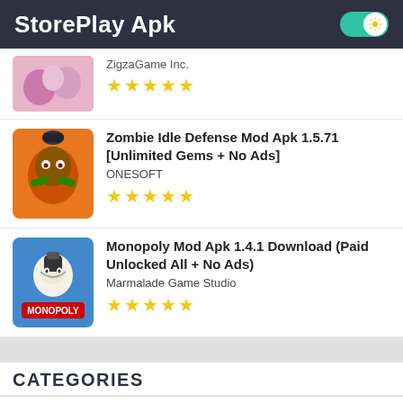StorePlay Apk
ZigzaGame Inc. ★★★★★
Zombie Idle Defense Mod Apk 1.5.71 [Unlimited Gems + No Ads] ONESOFT ★★★★★
Monopoly Mod Apk 1.4.1 Download (Paid Unlocked All + No Ads) Marmalade Game Studio ★★★★★
CATEGORIES
Action
Adventure
Android
Apps